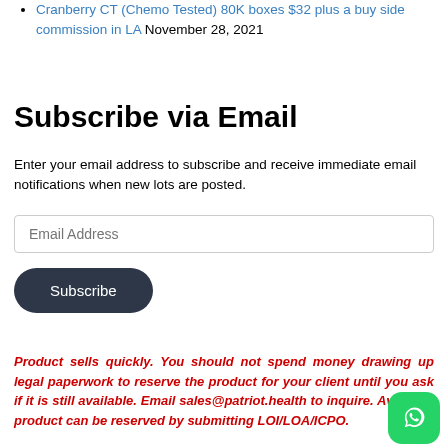Cranberry CT (Chemo Tested) 80K boxes $32 plus a buy side commission in LA November 28, 2021
Subscribe via Email
Enter your email address to subscribe and receive immediate email notifications when new lots are posted.
Email Address (input field)
Subscribe (button)
Product sells quickly. You should not spend money drawing up legal paperwork to reserve the product for your client until you ask if it is still available. Email sales@patriot.health to inquire. Available product can be reserved by submitting LOI/LOA/ICPO.